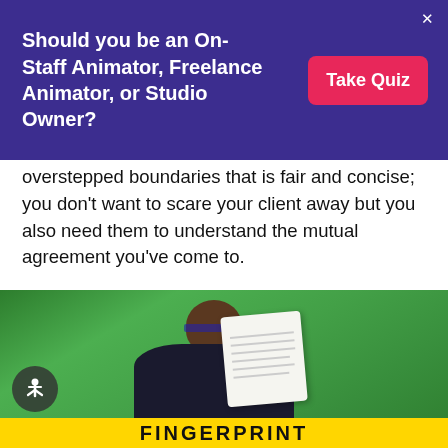[Figure (infographic): Purple banner advertisement asking 'Should you be an On-Staff Animator, Freelance Animator, or Studio Owner?' with a pink 'Take Quiz' button and an X close button]
overstepped boundaries that is fair and concise; you don't want to scare your client away but you also need them to understand the mutual agreement you've come to.
Consider The Terms And Conditions Of Your Boundaries
[Figure (photo): A person wearing glasses holding up a document in front of a green curtain background, with yellow text 'FINGERPRINT' partially visible at the bottom and an accessibility icon button in the lower left]